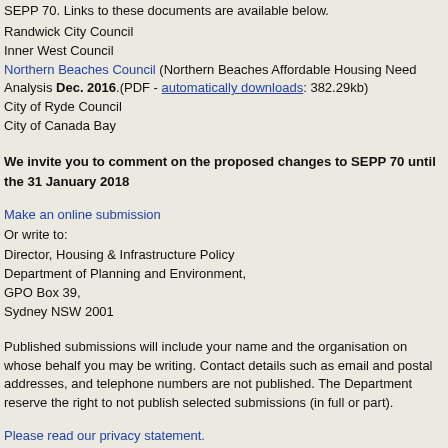SEPP 70. Links to these documents are available below.
Randwick City Council
Inner West Council
Northern Beaches Council (Northern Beaches Affordable Housing Need Analysis Dec. 2016.(PDF - automatically downloads: 382.29kb)
City of Ryde Council
City of Canada Bay
We invite you to comment on the proposed changes to SEPP 70 until the 31 January 2018
Make an online submission
Or write to:
Director, Housing & Infrastructure Policy
Department of Planning and Environment,
GPO Box 39,
Sydney NSW 2001
Published submissions will include your name and the organisation on whose behalf you may be writing. Contact details such as email and postal addresses, and telephone numbers are not published. The Department reserve the right to not publish selected submissions (in full or part).
Please read our privacy statement.